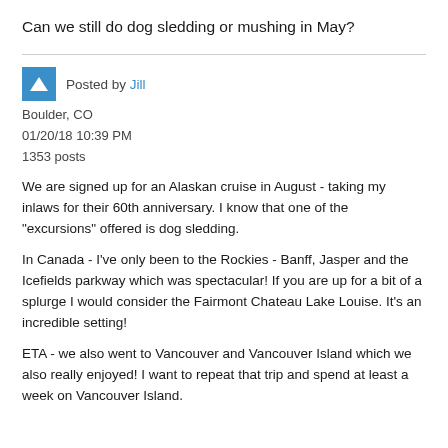Can we still do dog sledding or mushing in May?
Posted by Jill
Boulder, CO
01/20/18 10:39 PM
1353 posts
We are signed up for an Alaskan cruise in August - taking my inlaws for their 60th anniversary. I know that one of the "excursions" offered is dog sledding.
In Canada - I've only been to the Rockies - Banff, Jasper and the Icefields parkway which was spectacular! If you are up for a bit of a splurge I would consider the Fairmont Chateau Lake Louise. It's an incredible setting!
ETA - we also went to Vancouver and Vancouver Island which we also really enjoyed! I want to repeat that trip and spend at least a week on Vancouver Island.